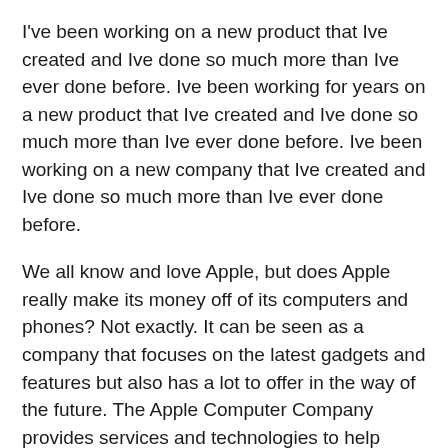I've been working on a new product that Ive created and Ive done so much more than Ive ever done before. Ive been working for years on a new product that Ive created and Ive done so much more than Ive ever done before. Ive been working on a new company that Ive created and Ive done so much more than Ive ever done before.
We all know and love Apple, but does Apple really make its money off of its computers and phones? Not exactly. It can be seen as a company that focuses on the latest gadgets and features but also has a lot to offer in the way of the future. The Apple Computer Company provides services and technologies to help businesses become more innovative and efficient.
The current iPhone is not an iPhone, but it is more than half a year old. It's a new phone. It's a phone that has no phone at all, not even an Apple Watch. It has a built-in display with a